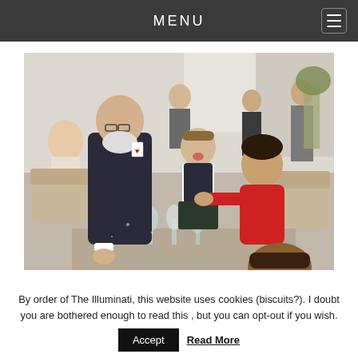MENU
[Figure (photo): A magician performing a card trick at a wedding reception. An elderly man in a dark suit leans forward showing a playing card to a young boy in a kilt who has his mouth open in amazement. A woman in a red dress seated beside the boy smiles and reaches out. Several other guests and chairs are visible in the background.]
By order of The Illuminati, this website uses cookies (biscuits?). I doubt you are bothered enough to read this , but you can opt-out if you wish.
Accept   Read More